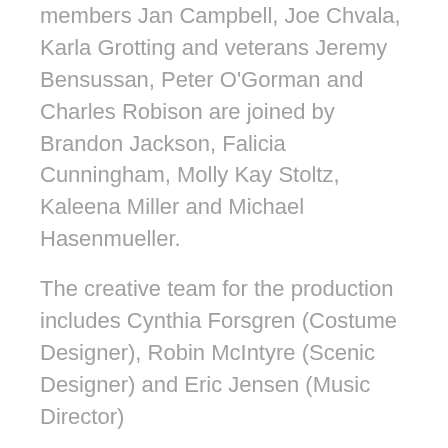members Jan Campbell, Joe Chvala, Karla Grotting and veterans Jeremy Bensussan, Peter O'Gorman and Charles Robison are joined by Brandon Jackson, Falicia Cunningham, Molly Kay Stoltz, Kaleena Miller and Michael Hasenmueller.
The creative team for the production includes Cynthia Forsgren (Costume Designer), Robin McIntyre (Scenic Designer) and Eric Jensen (Music Director)
Flying Foot Forum's FRENCH TWIST Performance Schedule: Previews begin Friday, June 22, and continue through Thursday, June 28. June 29 is